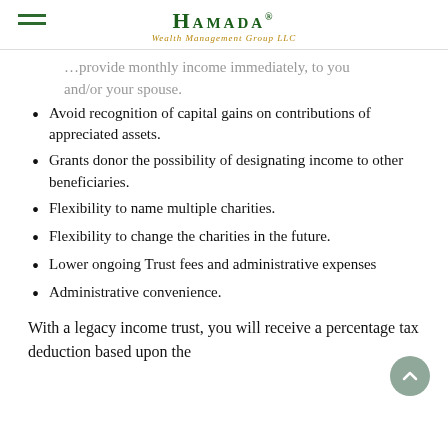Hamada® Wealth Management Group LLC
…provide monthly income immediately, to you and/or your spouse.
Avoid recognition of capital gains on contributions of appreciated assets.
Grants donor the possibility of designating income to other beneficiaries.
Flexibility to name multiple charities.
Flexibility to change the charities in the future.
Lower ongoing Trust fees and administrative expenses
Administrative convenience.
With a legacy income trust, you will receive a percentage tax deduction based upon the